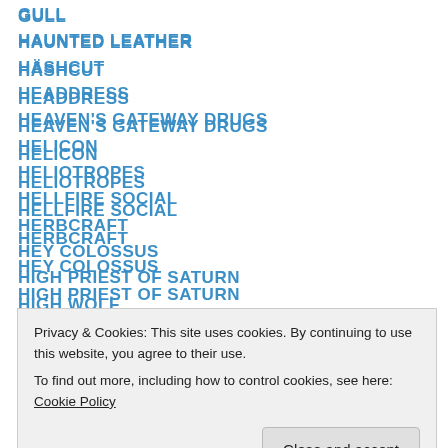GULL
HAUNTED LEATHER
HÄSHCUT
HEADDRESS
HEAVEN'S GATEWAY DRUGS
HELICON
HELIOTROPES
HELLFIRE SOCIAL
HERBCRAFT
HEY COLOSSUS
HIGH PRIEST OF SATURN
HIGH WOLF
HILLS
HOLSTENWALL (partially visible)
IT'S NOT NIGHT: IT'S SPACE
Privacy & Cookies: This site uses cookies. By continuing to use this website, you agree to their use. To find out more, including how to control cookies, see here: Cookie Policy